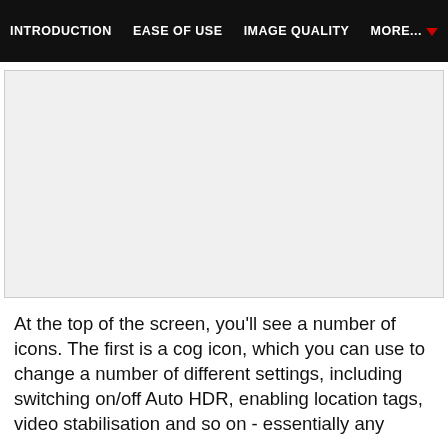INTRODUCTION   EASE OF USE   IMAGE QUALITY   MORE...
[Figure (screenshot): Camera interface screenshot showing icons at top of screen]
At the top of the screen, you'll see a number of icons. The first is a cog icon, which you can use to change a number of different settings, including switching on/off Auto HDR, enabling location tags, video stabilisation and so on - essentially any